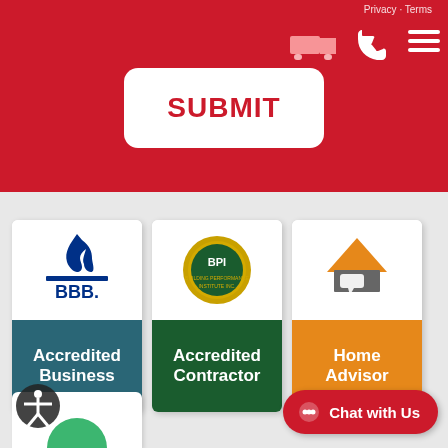Privacy · Terms
[Figure (screenshot): SUBMIT button in red text on white rounded rectangle, with delivery truck icon, phone icon, and hamburger menu icon on red background]
[Figure (logo): BBB (Better Business Bureau) blue torch flame logo with 'BBB.' text]
Accredited Business
[Figure (logo): BPI Building Performance Institute Inc. circular seal badge in gold/green]
Accredited Contractor
[Figure (logo): Home Advisor orange house icon with speech bubble]
Home Advisor
[Figure (logo): Accessibility icon: person in circle]
Chat with Us